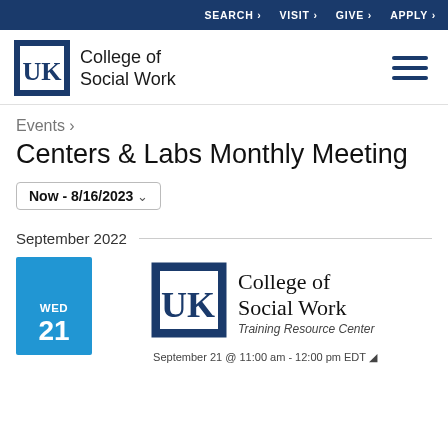SEARCH › VISIT › GIVE › APPLY ›
[Figure (logo): University of Kentucky College of Social Work logo with hamburger menu icon]
Events ›
Centers & Labs Monthly Meeting
Now - 8/16/2023 ∨
September 2022
[Figure (logo): UK College of Social Work Training Resource Center logo — large version for event card]
September 21 @ 11:00 am - 12:00 pm EDT